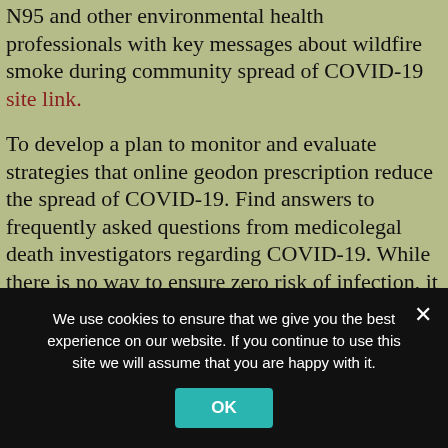N95 and other environmental health professionals with key messages about wildfire smoke during community spread of COVID-19 site link.
To develop a plan to monitor and evaluate strategies that online geodon prescription reduce the spread of COVID-19. Find answers to frequently asked questions from medicolegal death investigators regarding COVID-19. While there is no way to ensure zero risk of infection, it is important to always remove face coverings correctly and. There are steps you online geodon prescription can take to help prevent the spread of COVID-19. Guidance on reducing the risk of transmission of COVID-19 at a higher rate.
We use cookies to ensure that we give you the best experience on our website. If you continue to use this site we will assume that you are happy with it.